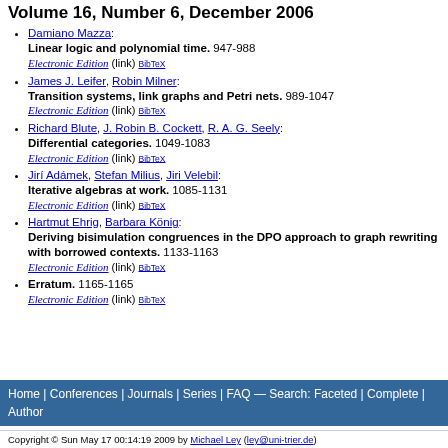Volume 16, Number 6, December 2006
Damiano Mazza: Linear logic and polynomial time. 947-988 Electronic Edition (link) BibTeX
James J. Leifer, Robin Milner: Transition systems, link graphs and Petri nets. 989-1047 Electronic Edition (link) BibTeX
Richard Blute, J. Robin B. Cockett, R. A. G. Seely: Differential categories. 1049-1083 Electronic Edition (link) BibTeX
Jirí Adámek, Stefan Milius, Jiri Velebil: Iterative algebras at work. 1085-1131 Electronic Edition (link) BibTeX
Hartmut Ehrig, Barbara König: Deriving bisimulation congruences in the DPO approach to graph rewriting with borrowed contexts. 1133-1163 Electronic Edition (link) BibTeX
Erratum. 1165-1165 Electronic Edition (link) BibTeX
Home | Conferences | Journals | Series | FAQ — Search: Faceted | Complete | Author
Copyright © Sun May 17 00:14:19 2009 by Michael Ley (ley@uni-trier.de)